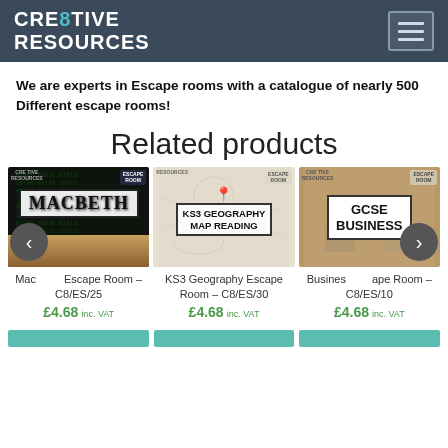CRE8TIVE RESOURCES
We are experts in Escape rooms with a catalogue of nearly 500 Different escape rooms!
Related products
[Figure (photo): Macbeth Escape Room product thumbnail with dark background and gold-toned imagery]
[Figure (photo): KS3 Geography Map Reading Escape Room product thumbnail with maps and compass imagery]
[Figure (photo): GCSE Business Escape Room product thumbnail with warm brown background]
Macbeth Escape Room – C8/ES/25
KS3 Geography Escape Room – C8/ES/30
Business Escape Room – C8/ES/10
£4.68 inc. VAT
£4.68 inc. VAT
£4.68 inc. VAT